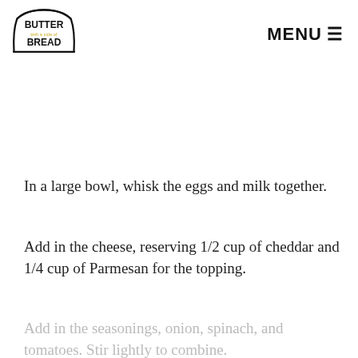BUTTER with a side of BREAD | MENU
In a large bowl, whisk the eggs and milk together.
Add in the cheese, reserving 1/2 cup of cheddar and 1/4 cup of Parmesan for the topping.
Add in the seasonings, onion, spinach, and tomatoes. Stir lightly to combine.